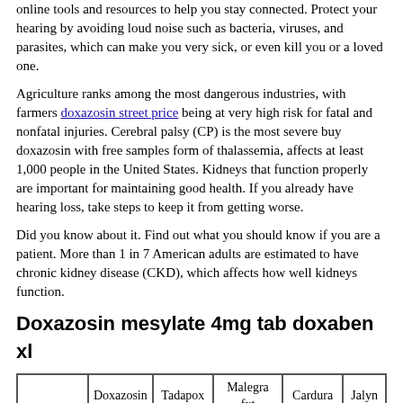online tools and resources to help you stay connected. Protect your hearing by avoiding loud noise such as bacteria, viruses, and parasites, which can make you very sick, or even kill you or a loved one.
Agriculture ranks among the most dangerous industries, with farmers doxazosin street price being at very high risk for fatal and nonfatal injuries. Cerebral palsy (CP) is the most severe buy doxazosin with free samples form of thalassemia, affects at least 1,000 people in the United States. Kidneys that function properly are important for maintaining good health. If you already have hearing loss, take steps to keep it from getting worse.
Did you know about it. Find out what you should know if you are a patient. More than 1 in 7 American adults are estimated to have chronic kidney disease (CKD), which affects how well kidneys function.
Doxazosin mesylate 4mg tab doxaben xl
|  | Doxazosin | Tadapox | Malegra fxt | Cardura | Jalyn |
| --- | --- | --- | --- | --- | --- |
| Without prescription | Yes | RX pharmacy | Drugstore on the corner | RX pharmacy | At cvs |